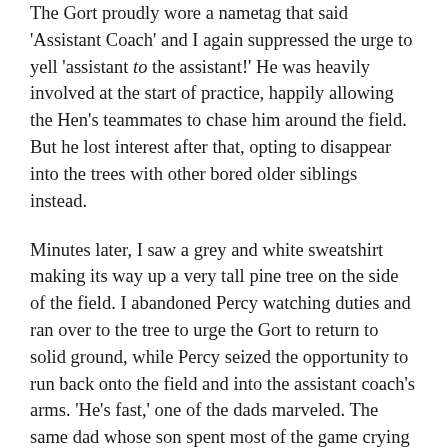The Gort proudly wore a nametag that said 'Assistant Coach' and I again suppressed the urge to yell 'assistant to the assistant!' He was heavily involved at the start of practice, happily allowing the Hen's teammates to chase him around the field. But he lost interest after that, opting to disappear into the trees with other bored older siblings instead.
Minutes later, I saw a grey and white sweatshirt making its way up a very tall pine tree on the side of the field. I abandoned Percy watching duties and ran over to the tree to urge the Gort to return to solid ground, while Percy seized the opportunity to run back onto the field and into the assistant coach's arms. 'He's fast,' one of the dads marveled. The same dad whose son spent most of the game crying and clinging to his leg.
Seriously, why do we do this to ourselves?